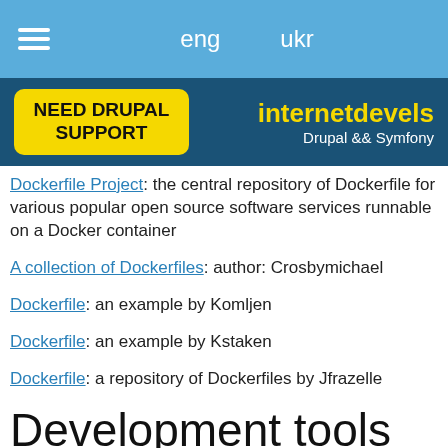eng   ukr
[Figure (logo): internetdevels Drupal && Symfony logo with yellow 'NEED DRUPAL SUPPORT' button]
Dockerfile Project: the central repository of Dockerfile for various popular open source software services runnable on a Docker container
A collection of Dockerfiles: author: Crosbymichael
Dockerfile: an example by Komljen
Dockerfile: an example by Kstaken
Dockerfile: a repository of Dockerfiles by Jfrazelle
Development tools